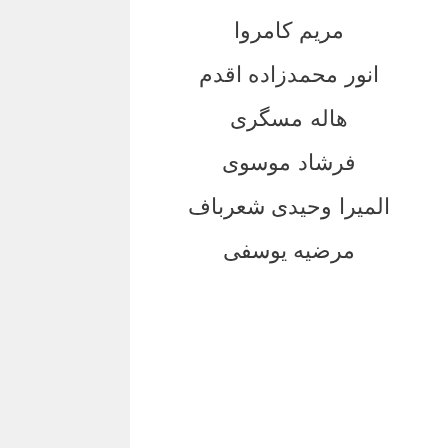مریم کامروا
انور محمدزاده اقدم
هاله مسگری
فرشاد موسوی
المیرا وحیدی شعرباف
مرضیه یوسفی